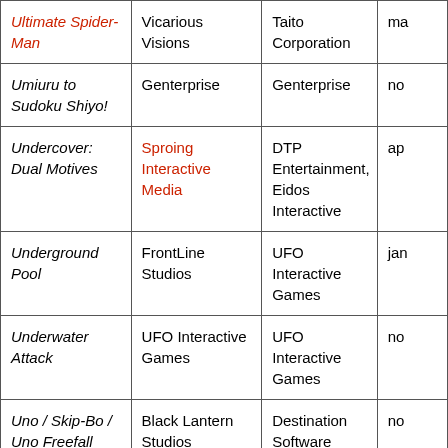| Title | Developer | Publisher | Date |
| --- | --- | --- | --- |
| Ultimate Spider-Man | Vicarious Visions | Taito Corporation | ma… |
| Umiuru to Sudoku Shiyo! | Genterprise | Genterprise | no… |
| Undercover: Dual Motives | Sproing Interactive Media | DTP Entertainment, Eidos Interactive | ap… |
| Underground Pool | FrontLine Studios | UFO Interactive Games | jan… |
| Underwater Attack | UFO Interactive Games | UFO Interactive Games | no… |
| Uno / Skip-Bo / Uno Freefall | Black Lantern Studios | Destination Software | no… |
| Uno 52 | Destination Software | Destination | ok… |